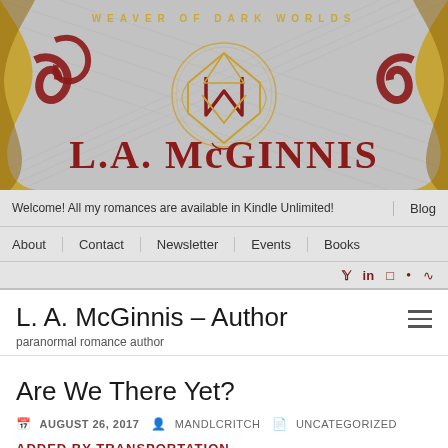[Figure (illustration): L.A. McGinnis author website banner with gold and red decorative elements, ornate logo, tagline 'Weaver of Dark Worlds', and author name 'L.A. McGinnis' in red serif text on a silver textured background]
Welcome! All my romances are available in Kindle Unlimited! | Blog | About | Contact | Newsletter | Events | Books
L. A. McGinnis – Author
paranormal romance author
Are We There Yet?
AUGUST 26, 2017 | MANDLCRITCH | UNCATEGORIZED
ADDED BY TRANSPORTATION